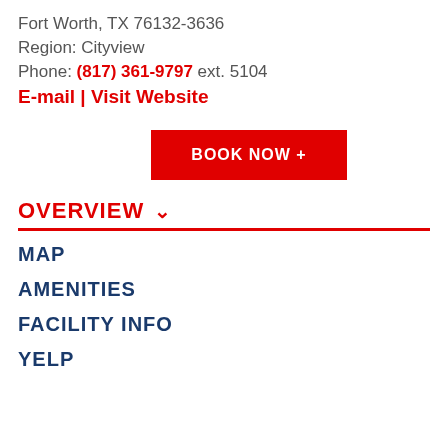Fort Worth, TX 76132-3636
Region: Cityview
Phone: (817) 361-9797 ext. 5104
E-mail | Visit Website
BOOK NOW +
OVERVIEW
MAP
AMENITIES
FACILITY INFO
YELP